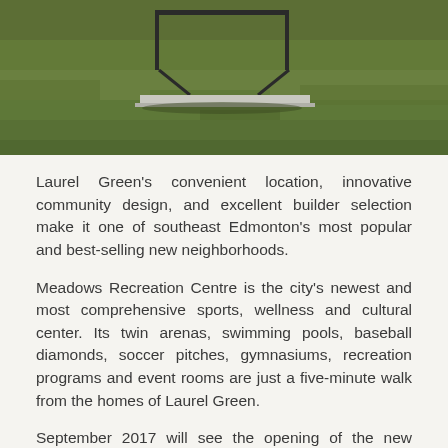[Figure (photo): Outdoor photo showing green grass field with what appears to be a bench or sports equipment structure, bottom portion of an outdoor recreational area]
Laurel Green's convenient location, innovative community design, and excellent builder selection make it one of southeast Edmonton's most popular and best-selling new neighborhoods.
Meadows Recreation Centre is the city's newest and most comprehensive sports, wellness and cultural center. Its twin arenas, swimming pools, baseball diamonds, soccer pitches, gymnasiums, recreation programs and event rooms are just a five-minute walk from the homes of Laurel Green.
September 2017 will see the opening of the new Svend Hansen K-9 public school. Located about six blocks south of the community's central park this state of the art institution accommodates 900 students and is